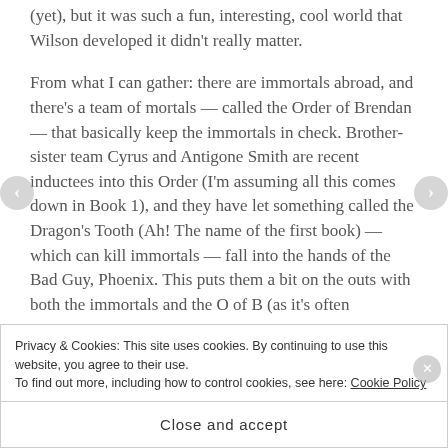(yet), but it was such a fun, interesting, cool world that Wilson developed it didn't really matter.
From what I can gather: there are immortals abroad, and there's a team of mortals — called the Order of Brendan — that basically keep the immortals in check. Brother-sister team Cyrus and Antigone Smith are recent inductees into this Order (I'm assuming all this comes down in Book 1), and they have let something called the Dragon's Tooth (Ah! The name of the first book) — which can kill immortals — fall into the hands of the Bad Guy, Phoenix. This puts them a bit on the outs with both the immortals and the O of B (as it's often
Privacy & Cookies: This site uses cookies. By continuing to use this website, you agree to their use.
To find out more, including how to control cookies, see here: Cookie Policy
Close and accept